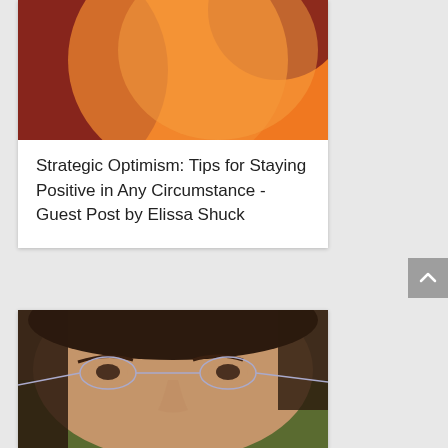[Figure (photo): Abstract orange and dark red circular shapes on orange background]
Strategic Optimism: Tips for Staying Positive in Any Circumstance - Guest Post by Elissa Shuck
[Figure (photo): Close-up photo of a woman with glasses and dark hair outdoors]